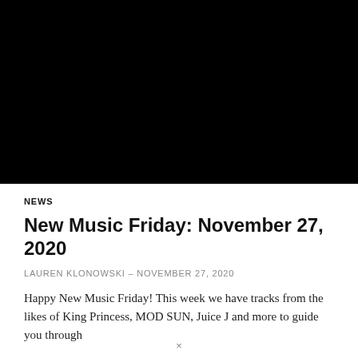[Figure (photo): Large black rectangle image at top of page, full width, approximately half page height]
NEWS
New Music Friday: November 27, 2020
LAUREN KLONOWSKI – NOVEMBER 27, 2020
Happy New Music Friday! This week we have tracks from the likes of King Princess, MOD SUN, Juice J and more to guide you through